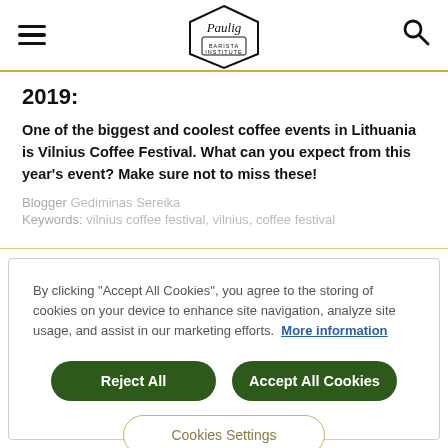Paulig Barista Institute (logo)
2019:
One of the biggest and coolest coffee events in Lithuania is Vilnius Coffee Festival. What can you expect from this year's event? Make sure not to miss these!
Blogger Gediminas Sereika
Keywords: vilnius coffee festival, vilnius, coffee festival
By clicking “Accept All Cookies”, you agree to the storing of cookies on your device to enhance site navigation, analyze site usage, and assist in our marketing efforts. More information
Reject All
Accept All Cookies
Cookies Settings